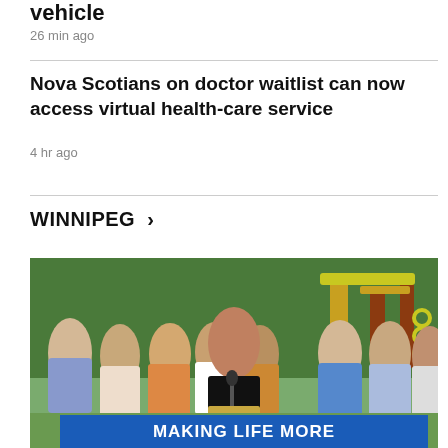vehicle
26 min ago
Nova Scotians on doctor waitlist can now access virtual health-care service
4 hr ago
WINNIPEG >
[Figure (photo): A woman in a black sleeveless top stands at a podium speaking at an outdoor press conference, with a group of people behind her applauding. A playground with yellow and green equipment is visible in the background. A blue banner at the bottom reads 'MAKING LIFE MORE'.]